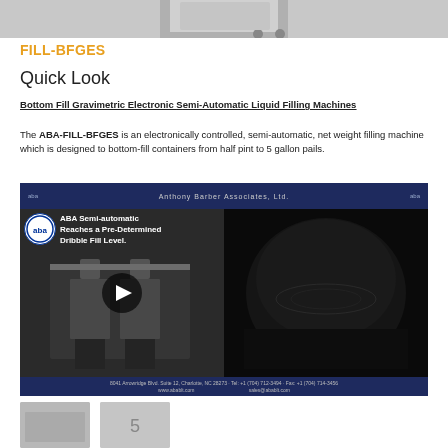[Figure (photo): Top portion of a liquid filling machine, industrial equipment, gray tones]
FILL-BFGES
Quick Look
Bottom Fill Gravimetric Electronic Semi-Automatic Liquid Filling Machines
The ABA-FILL-BFGES is an electronically controlled, semi-automatic, net weight filling machine which is designed to bottom-fill containers from half pint to 5 gallon pails.
[Figure (screenshot): Video thumbnail for ABA Semi-automatic product video showing filling machine in operation. Text reads: ABA Semi-automatic Reaches a Pre-Determined Dribble Fill Level. Anthony Barber Associates Ltd. branding visible.]
[Figure (photo): Small thumbnail images at bottom of page, partially visible]